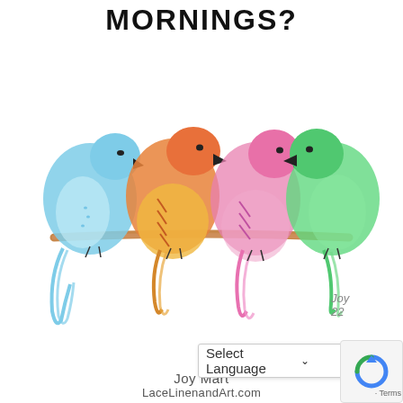MORNINGS?
[Figure (illustration): Watercolor illustration of four colorful birds (blue, orange/yellow, pink, green) perched on a branch, with tails hanging below. Signed 'Joy 22'.]
Joy Mart
LaceLinenandArt.com